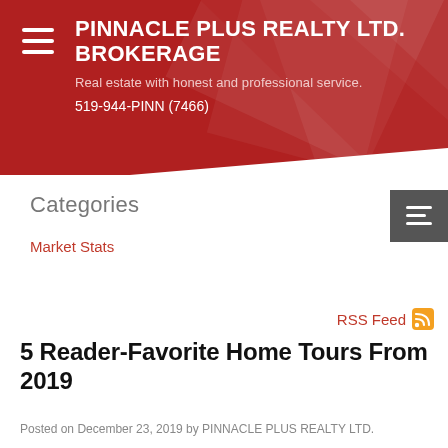PINNACLE PLUS REALTY LTD. BROKERAGE
Real estate with honest and professional service.
519-944-PINN (7466)
Categories
Market Stats
RSS Feed
5 Reader-Favorite Home Tours From 2019
Posted on December 23, 2019 by PINNACLE PLUS REALTY LTD.